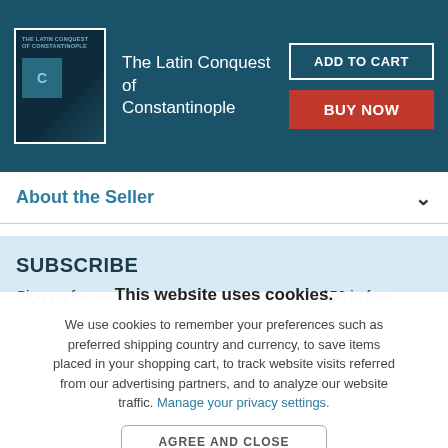[Figure (screenshot): Book cover thumbnail for 'The Latin Conquest of Constantinople' showing a dark book cover]
The Latin Conquest of Constantinople
ADD TO CART
BUY NOW
About the Seller
SUBSCRIBE
Sign up for our newsletter for a chance to win $50 in free
This website uses cookies.
We use cookies to remember your preferences such as preferred shipping country and currency, to save items placed in your shopping cart, to track website visits referred from our advertising partners, and to analyze our website traffic. Manage your privacy settings.
AGREE AND CLOSE